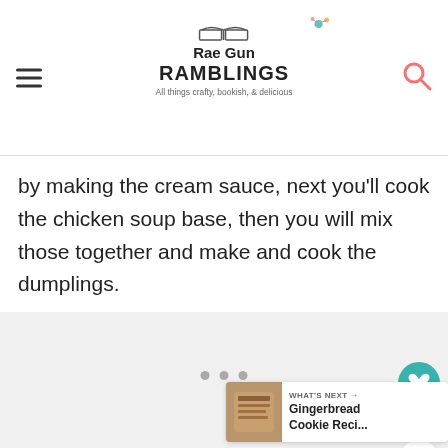Rae Gun RAMBLINGS — All things crafty, bookish, & delicious
by making the cream sauce, next you'll cook the chicken soup base, then you will mix those together and make and cook the dumplings.
[Figure (photo): Large image placeholder area with gray background and navigation dots]
WHAT'S NEXT → Gingerbread Cookie Reci...